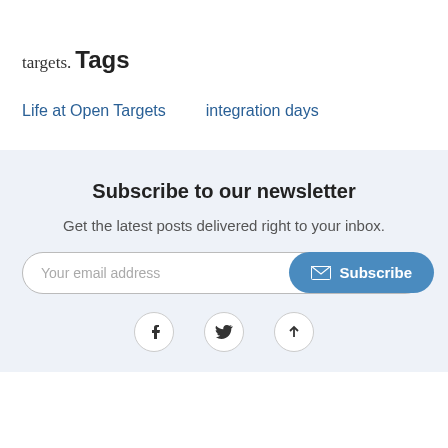targets.
Tags
Life at Open Targets
integration days
Subscribe to our newsletter
Get the latest posts delivered right to your inbox.
Your email address
Subscribe
[Figure (other): Social media icons: Facebook, Twitter, and an up arrow button]